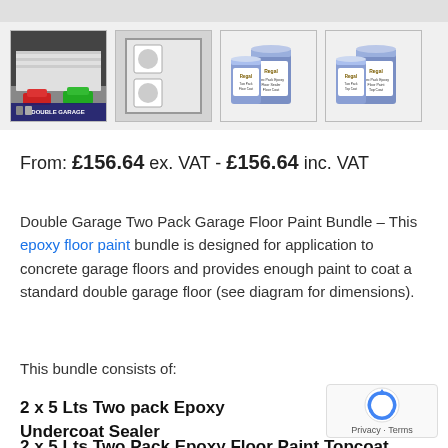[Figure (photo): Row of four product thumbnails: (1) photo of garage exterior with red and green cars, Double Garage label; (2) diagram of double garage floor plan with two cars; (3) two Regal paint tins - undercoat sealer; (4) two Regal paint tins - floor paint.]
From: £156.64 ex. VAT - £156.64 inc. VAT
Double Garage Two Pack Garage Floor Paint Bundle – This epoxy floor paint bundle is designed for application to concrete garage floors and provides enough paint to coat a standard double garage floor (see diagram for dimensions).
This bundle consists of:
2 x 5 Lts Two pack Epoxy Undercoat Sealer
2 x 5 Lts Two Pack Epoxy Floor Paint Topcoat (Select